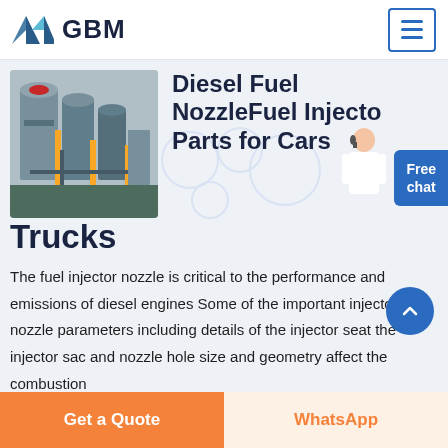[Figure (logo): GBM logo with blue/teal mountain/arrow icon and bold GBM text]
[Figure (photo): Industrial plant with large silos/tanks, yellow structural supports, outdoor industrial facility]
Diesel Fuel NozzleFuel Injector Parts for Cars Trucks
The fuel injector nozzle is critical to the performance and emissions of diesel engines Some of the important injector nozzle parameters including details of the injector seat the injector sac and nozzle hole size and geometry affect the combustion